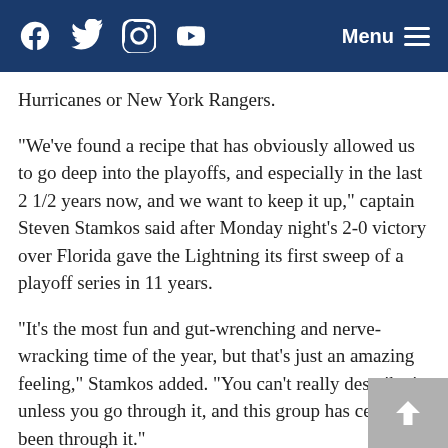Social media icons (Facebook, Twitter, Instagram, YouTube) and Menu button
Hurricanes or New York Rangers.
“We’ve found a recipe that has obviously allowed us to go deep into the playoffs, and especially in the last 2 1/2 years now, and we want to keep it up,” captain Steven Stamkos said after Monday night’s 2-0 victory over Florida gave the Lightning its first sweep of a playoff series in 11 years.
“It’s the most fun and gut-wrenching and nerve-wracking time of the year, but that’s just an amazing feeling,” Stamkos added. “You can’t really describe it unless you go through it, and this group has certainly been through it.”
Vasilevskiy led 40… (text continues below visible area)